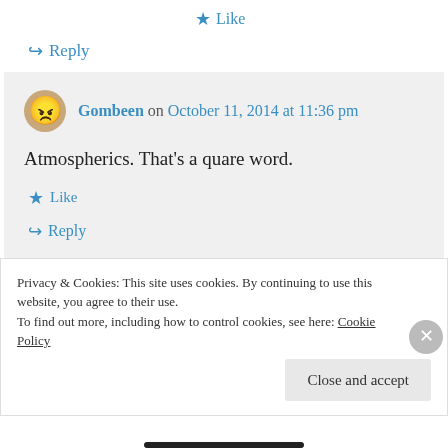★ Like
↪ Reply
Gombeen on October 11, 2014 at 11:36 pm
Atmospherics. That's a quare word.
★ Like
↪ Reply
Privacy & Cookies: This site uses cookies. By continuing to use this website, you agree to their use. To find out more, including how to control cookies, see here: Cookie Policy
Close and accept